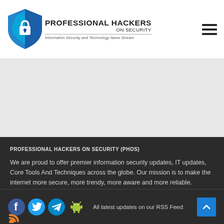[Figure (logo): Professional Hackers On Security logo with shield icon and tagline]
[Figure (other): Gray banner/advertisement area]
PROFESSIONAL HACKERS ON SECURITY (PHOS)
We are proud to offer premier information security updates, IT updates, Core Tools And Techniques across the globe. Our mission is to make the internet more secure, more trendy, more aware and more reliable.
[Figure (other): Social media icons: Facebook, Twitter, Telegram, Android, RSS and text: All latest updates on our RSS Feed:, plus scroll-to-top button]